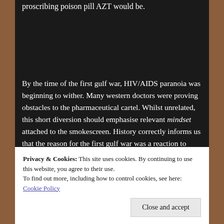proscribing poison pill AZT would be.
By the time of the first gulf war, HIV/AIDS paranoia was beginning to wither. Many western doctors were proving obstacles to the pharmaceutical cartel. Whilst unrelated, this short diversion should emphasise relevant mindset attached to the smokescreen. History correctly informs us that the reason for the first gulf war was a reaction to Saddam Huissein's
Privacy & Cookies: This site uses cookies. By continuing to use this website, you agree to their use.
To find out more, including how to control cookies, see here: Cookie Policy
Close and accept